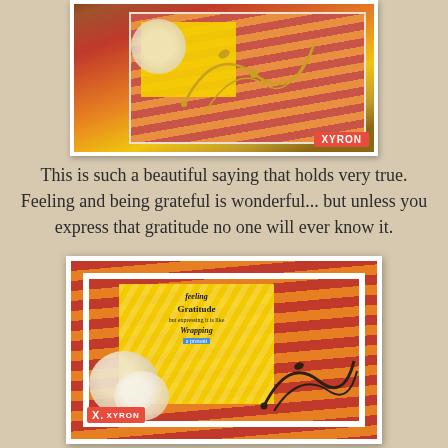[Figure (photo): Close-up photo of a decorative framed craft card with orange, red, yellow chevron patterned paper, cream paper flowers, and a golden floral swirl embellishment. A Xyron logo badge appears in the bottom right corner.]
This is such a beautiful saying that holds very true. Feeling and being grateful is wonderful... but unless you express that gratitude no one will ever know it.
[Figure (photo): Close-up photo of a decorative framed craft card with orange striped and yellow chevron patterned paper, script text reading 'Feeling Gratitude' quote, cream paper flowers, and dark floral swirl embellishments. A Xyron logo badge appears in the bottom left corner.]